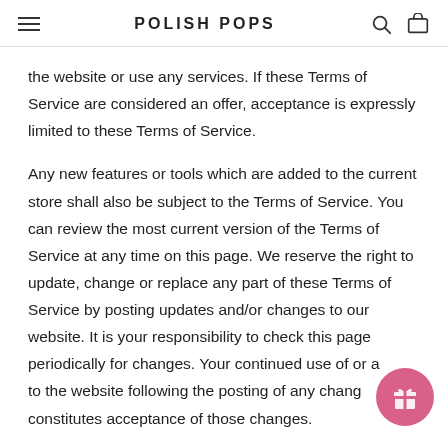POLISH POPS
the website or use any services. If these Terms of Service are considered an offer, acceptance is expressly limited to these Terms of Service.
Any new features or tools which are added to the current store shall also be subject to the Terms of Service. You can review the most current version of the Terms of Service at any time on this page. We reserve the right to update, change or replace any part of these Terms of Service by posting updates and/or changes to our website. It is your responsibility to check this page periodically for changes. Your continued use of or access to the website following the posting of any changes constitutes acceptance of those changes.